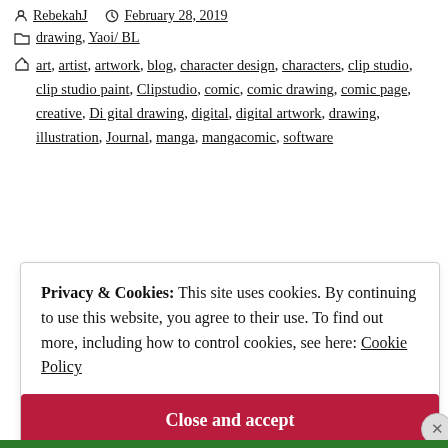RebekahJ  February 28, 2019
drawing, Yaoi/ BL
art, artist, artwork, blog, character design, characters, clip studio, clip studio paint, Clipstudio, comic, comic drawing, comic page, creative, Di gital drawing, digital, digital artwork, drawing, illustration, Journal, manga, mangacomic, software
Privacy & Cookies: This site uses cookies. By continuing to use this website, you agree to their use. To find out more, including how to control cookies, see here: Cookie Policy
Close and accept